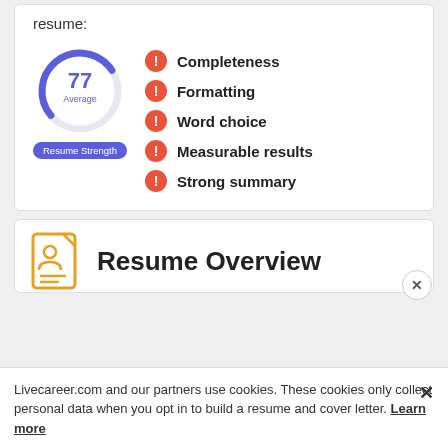resume:
[Figure (infographic): Donut/gauge chart showing score 77, labeled Average, with Resume Strength badge below. Five items listed with red alert icons: Completeness, Formatting, Word choice, Measurable results, Strong summary.]
[Figure (infographic): Resume Overview section with orange document/person icon and large bold text 'Resume Overview']
Livecareer.com and our partners use cookies. These cookies only collect personal data when you opt in to build a resume and cover letter. Learn more